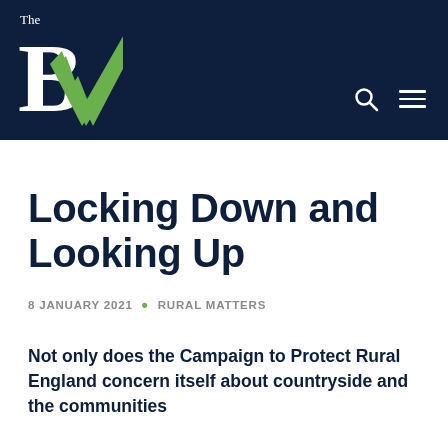The BV
Locking Down and Looking Up
8 JANUARY 2021 • RURAL MATTERS
Not only does the Campaign to Protect Rural England concern itself about countryside and the communities